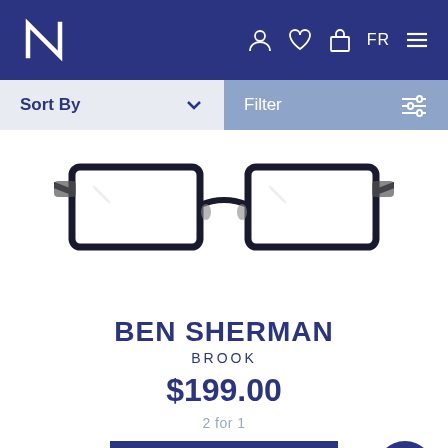N logo, navigation icons: person, heart, bag, FR, menu
Sort By
Filter
[Figure (photo): Close-up photo of a pair of dark rectangular metal eyeglass frames (Ben Sherman Brook) showing the front bridge and temples against a white background.]
BEN SHERMAN
BROOK
$199.00
2 for 1
TRY ON